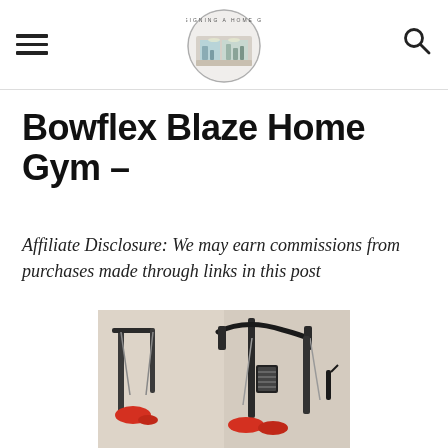Designing A Home Gym (logo with hamburger menu and search icon)
Bowflex Blaze Home Gym –
Affiliate Disclosure: We may earn commissions from purchases made through links in this post
[Figure (photo): Photo of Bowflex Blaze Home Gym equipment showing two views of the machine with pulleys and cable system against a beige wall]